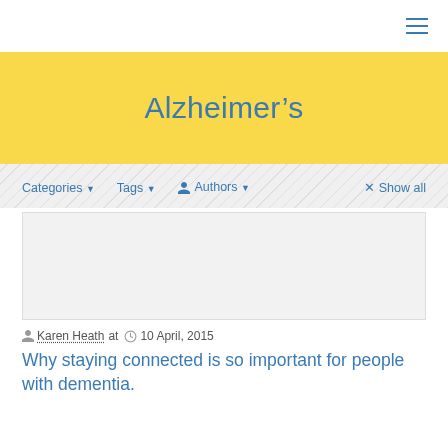☰ (hamburger menu)
Alzheimer's
Categories ▾   Tags ▾   👤 Authors ▾   × Show all
[Figure (other): Empty article card / placeholder image area with light gray background]
👤 Karen Heath at 🕐 10 April, 2015
Why staying connected is so important for people with dementia.